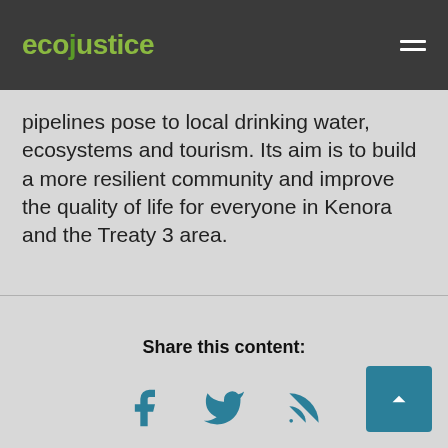ecojustice
pipelines pose to local drinking water, ecosystems and tourism. Its aim is to build a more resilient community and improve the quality of life for everyone in Kenora and the Treaty 3 area.
Share this content:
[Figure (infographic): Social sharing icons: Facebook, Twitter, RSS feed]